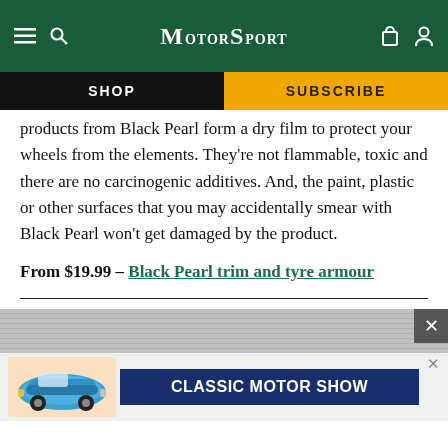Motor Sport
SHOP
SUBSCRIBE
products from Black Pearl form a dry film to protect your wheels from the elements. They’re not flammable, toxic and there are no carcinogenic additives. And, the paint, plastic or other surfaces that you may accidentally smear with Black Pearl won’t get damaged by the product.
From $19.99 – Black Pearl trim and tyre armour
[Figure (screenshot): Advertisement banner for Classic Motor Show featuring a blue vintage Porsche 911 and dark blue banner text reading CLASSIC MOTOR SHOW]